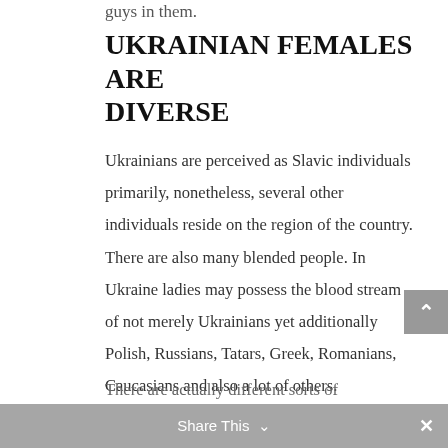guys in them.
Ukrainian females are diverse
Ukrainians are perceived as Slavic individuals primarily, nonetheless, several other individuals reside on the region of the country. There are also many blended people. In Ukraine ladies may possess the blood stream of not merely Ukrainians yet additionally Polish, Russians, Tatars, Greek, Romanians, Caucasians and also a lot of others.
There are actually different sorts of